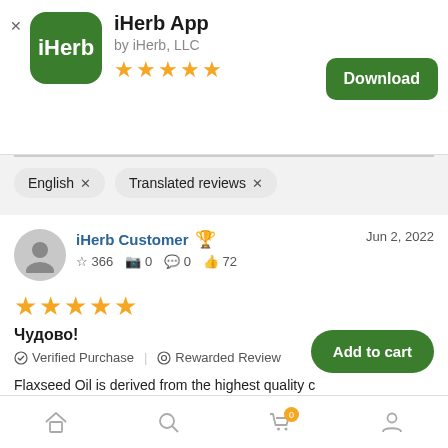[Figure (screenshot): iHerb app icon — green rounded square with white iHerb text logo]
iHerb App
by iHerb, LLC
[Figure (other): 5 yellow stars rating]
[Figure (other): Green Download button]
English ×   Translated reviews ×
iHerb Customer  🏆   Jun 2, 2022
☆ 366  📷 0  💬 0  👍 72
[Figure (other): 5 yellow stars review rating]
Чудово!
✓ Verified Purchase  |  ⊙ Rewarded Review
Flaxseed Oil is derived from the highest quality c... c flax. The flaxseed oil is extracted using an exclusive chemical-f...
[Figure (other): Green Add to cart button]
[Figure (other): Bottom navigation bar with home, search, cart (badge 0), and profile icons]